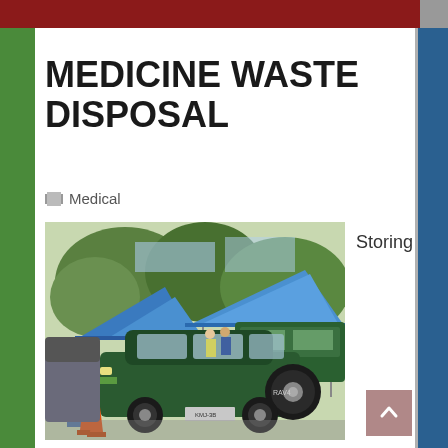MEDICINE WASTE DISPOSAL
Medical
[Figure (photo): Outdoor medicine waste disposal event with blue tents, a green Toyota RAV4 SUV, a person in a green shirt handing items through the car window, orange traffic cones, and trees in the background.]
Storing